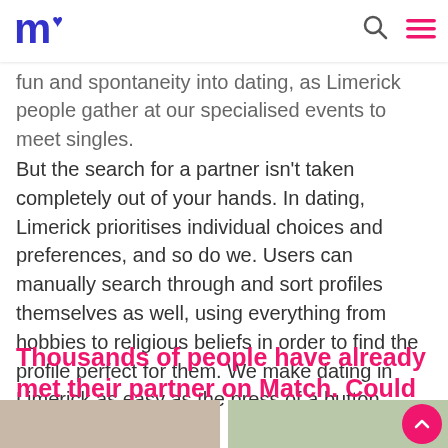m♥ [Match logo] [search icon] [menu icon]
fun and spontaneity into dating, as Limerick people gather at our specialised events to meet singles.
But the search for a partner isn't taken completely out of your hands. In dating, Limerick prioritises individual choices and preferences, and so do we. Users can manually search through and sort profiles themselves as well, using everything from hobbies to religious beliefs in order to find the profile perfect for them. We make dating in Limerick as easy as the press of a button.
Thousands of people have already met their partner on Match. Could you be next?
[Figure (other): Share icon (three connected dots)]
[Figure (photo): Bottom portion of page showing two photos of couples partially visible]